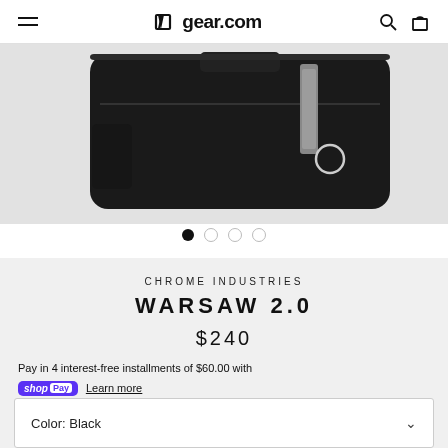gear.com
[Figure (photo): A black bag (Warsaw 2.0 by Chrome Industries) photographed from above/behind on a light gray background, showing a shoulder strap with reflective detail and ring hardware.]
CHROME INDUSTRIES
WARSAW 2.0
$240
Pay in 4 interest-free installments of $60.00 with
shop Pay  Learn more
Color: Black